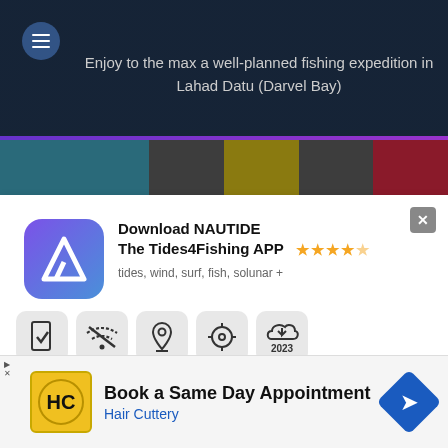[Figure (screenshot): Top banner with dark background showing fishing expedition text and colored bars]
Enjoy to the max a well-planned fishing expedition in Lahad Datu (Darvel Bay)
[Figure (screenshot): NAUTIDE app advertisement panel with app icon, star rating, feature icons, and download buttons]
Download NAUTIDE The Tides4Fishing APP
tides, wind, surf, fish, solunar +
Now available
[Figure (screenshot): Hair Cuttery advertisement with HC logo and Book a Same Day Appointment text]
Book a Same Day Appointment
Hair Cuttery